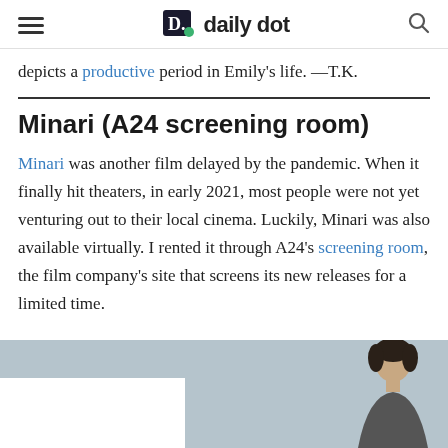daily dot
depicts a productive period in Emily's life. —T.K.
Minari (A24 screening room)
Minari was another film delayed by the pandemic. When it finally hit theaters, in early 2021, most people were not yet venturing out to their local cinema. Luckily, Minari was also available virtually. I rented it through A24's screening room, the film company's site that screens its new releases for a limited time.
[Figure (photo): Partial image of a person against a light blue-grey background, visible from the mid-section, with dark hair, at the bottom of the page.]